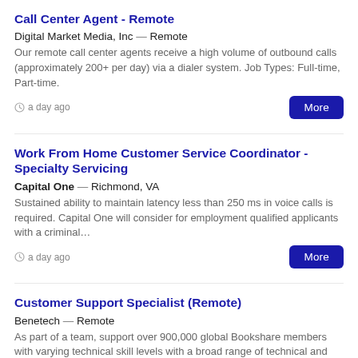Call Center Agent - Remote
Digital Market Media, Inc — Remote
Our remote call center agents receive a high volume of outbound calls (approximately 200+ per day) via a dialer system. Job Types: Full-time, Part-time.
a day ago
Work From Home Customer Service Coordinator - Specialty Servicing
Capital One — Richmond, VA
Sustained ability to maintain latency less than 250 ms in voice calls is required. Capital One will consider for employment qualified applicants with a criminal…
a day ago
Customer Support Specialist (Remote)
Benetech — Remote
As part of a team, support over 900,000 global Bookshare members with varying technical skill levels with a broad range of technical and membership support…